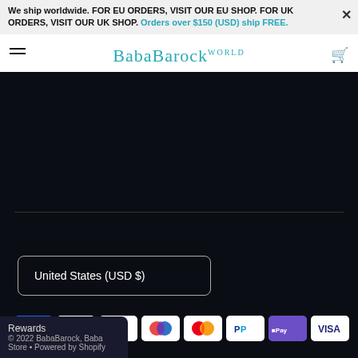We ship worldwide. FOR EU ORDERS, VISIT OUR EU SHOP. FOR UK ORDERS, VISIT OUR UK SHOP. Orders over $150 (USD) ship FREE.
[Figure (logo): BabaBarock World logo in teal/cyan serif font with hamburger menu on left and cart icon on right]
United States (USD $)
[Figure (other): Payment method icons: American Express, Apple Pay, Google Pay, Maestro, Mastercard, PayPal, Shop Pay, Visa]
[Figure (other): Social media icons: Facebook, Twitter, YouTube, Instagram]
© 2022 BabaBarock, Baba Store • Powered by Shopify